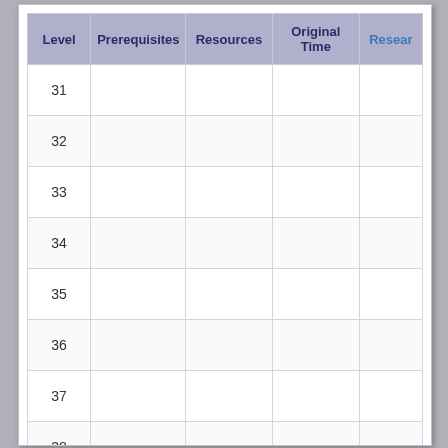| Level | Prerequisites | Resources | Original Time | Resear |
| --- | --- | --- | --- | --- |
| 31 |  |  |  |  |
| 32 |  |  |  |  |
| 33 |  |  |  |  |
| 34 |  |  |  |  |
| 35 |  |  |  |  |
| 36 |  |  |  |  |
| 37 |  |  |  |  |
| 38 |  |  |  |  |